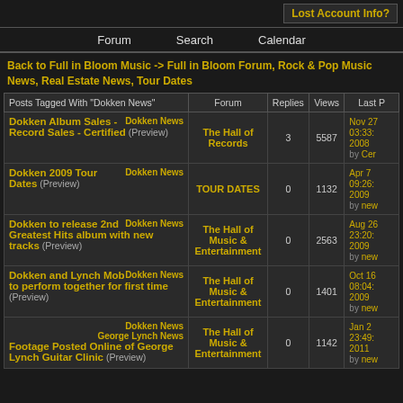Lost Account Info?
Forum   Search   Calendar
Back to Full in Bloom Music -> Full in Bloom Forum, Rock & Pop Music News, Real Estate News, Tour Dates
| Posts Tagged With "Dokken News" | Forum | Replies | Views | Last P |
| --- | --- | --- | --- | --- |
| Dokken Album Sales - Record Sales - Certified (Preview) | Dokken News | The Hall of Records | 3 | 5587 | Nov 27 03:33: 2008 by Cer |
| Dokken 2009 Tour Dates (Preview) | Dokken News | TOUR DATES | 0 | 1132 | Apr 7 09:26: 2009 by new |
| Dokken to release 2nd Greatest Hits album with new tracks (Preview) | Dokken News | The Hall of Music & Entertainment | 0 | 2563 | Aug 26 23:20: 2009 by new |
| Dokken and Lynch Mob to perform together for first time (Preview) | Dokken News | The Hall of Music & Entertainment | 0 | 1401 | Oct 16 08:04: 2009 by new |
| Footage Posted Online of George Lynch Guitar Clinic (Preview) | Dokken News, George Lynch News | The Hall of Music & Entertainment | 0 | 1142 | Jan 2 23:49: 2011 by new |